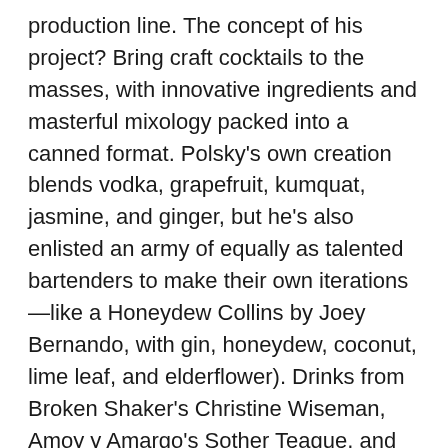production line. The concept of his project? Bring craft cocktails to the masses, with innovative ingredients and masterful mixology packed into a canned format. Polsky's own creation blends vodka, grapefruit, kumquat, jasmine, and ginger, but he's also enlisted an army of equally as talented bartenders to make their own iterations—like a Honeydew Collins by Joey Bernando, with gin, honeydew, coconut, lime leaf, and elderflower). Drinks from Broken Shaker's Christine Wiseman, Amoy y Amargo's Sother Teague, and The Spare Room's Yael Vengroff are on the way.
The company puts bartenders in the spotlight, placing them front and center in the marketing campaigns and completely compensating them